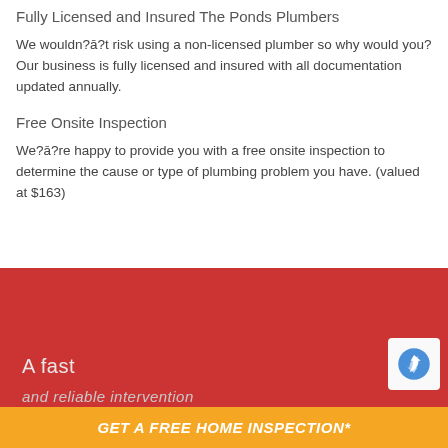Fully Licensed and Insured The Ponds Plumbers
We wouldn??t risk using a non-licensed plumber so why would you? Our business is fully licensed and insured with all documentation updated annually.
Free Onsite Inspection
We??re happy to provide you with a free onsite inspection to determine the cause or type of plumbing problem you have. (valued at $163)
[Figure (other): Red banner section with text 'A fast' and partial text 'and reliable intervention' with a reCAPTCHA badge in corner]
GET A FREE HOME INSPECTION*